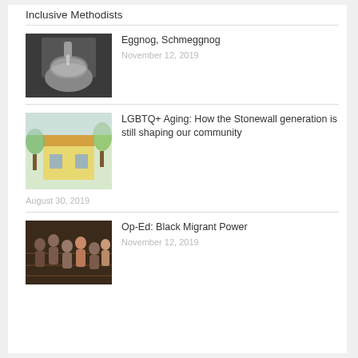Inclusive Methodists
[Figure (photo): Person pouring sugar or powder into a mixing bowl]
Eggnog, Schmeggnog
November 12, 2019
[Figure (illustration): Watercolor illustration of a building with green trees]
LGBTQ+ Aging: How the Stonewall generation is still shaping our community
August 30, 2019
[Figure (photo): Group photo of Black people on a staircase]
Op-Ed: Black Migrant Power
November 12, 2019